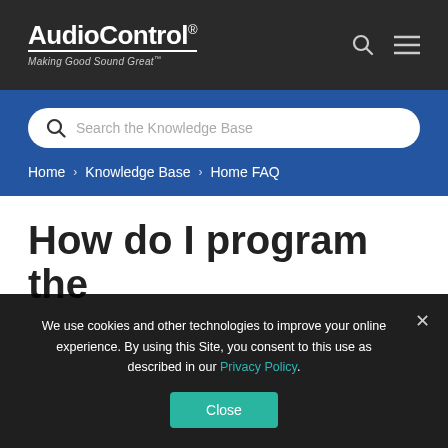AudioControl® — Making Good Sound Great™
[Figure (screenshot): Search bar with placeholder text 'Search the Knowledge Base']
Home > Knowledge Base > Home FAQ
How do I program the
We use cookies and other technologies to improve your online experience. By using this Site, you consent to this use as described in our Privacy Policy.
Close